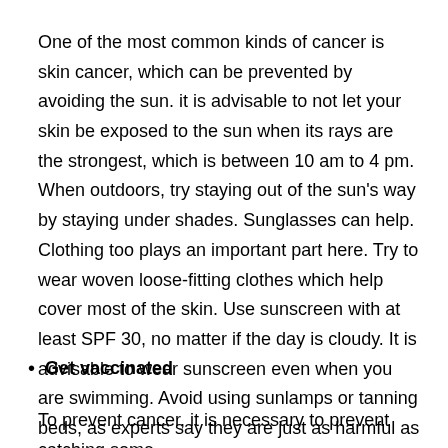One of the most common kinds of cancer is skin cancer, which can be prevented by avoiding the sun. it is advisable to not let your skin be exposed to the sun when its rays are the strongest, which is between 10 am to 4 pm. When outdoors, try staying out of the sun's way by staying under shades. Sunglasses can help. Clothing too plays an important part here. Try to wear woven loose-fitting clothes which help cover most of the skin. Use sunscreen with at least SPF 30, no matter if the day is cloudy. It is advisable to wear sunscreen even when you are swimming. Avoid using sunlamps or tanning beds, as experts say they are just as harmful as the natural light of the sun.
Get vaccinated
To prevent cancer, it is necessary to prevent catching some